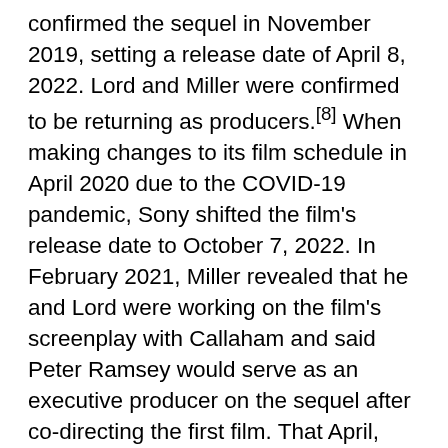confirmed the sequel in November 2019, setting a release date of April 8, 2022. Lord and Miller were confirmed to be returning as producers.[8] When making changes to its film schedule in April 2020 due to the COVID-19 pandemic, Sony shifted the film's release date to October 7, 2022. In February 2021, Miller revealed that he and Lord were working on the film's screenplay with Callaham and said Peter Ramsey would serve as an executive producer on the sequel after co-directing the first film. That April, Kemp Powers and Justin K. Thompson were announced as co-directors of the sequel alongside Dos Santos, with all three having been working on the project since it started development. Thompson had previously served as production designer on the first film. Additionally, Arad and Steinberg were both confirmed to be returning as producers alongside Lord, Miller, and Pascal, with Alonzo Ruvalcaba co-